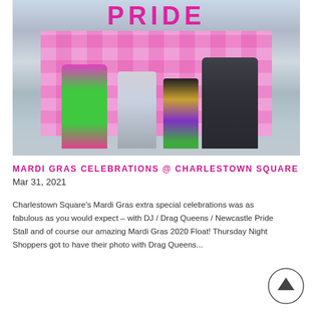[Figure (photo): Photo of people including a drag queen in green outfit with pink hair, a uniformed officer, a person in Mardi Gras costume, and a police officer in black tactical vest, all standing in front of a pink and white SHOW PRIDE branded backdrop with large PRIDE letters above, inside a shopping centre.]
MARDI GRAS CELEBRATIONS @ CHARLESTOWN SQUARE
Mar 31, 2021
Charlestown Square's Mardi Gras extra special celebrations was as fabulous as you would expect – with DJ / Drag Queens / Newcastle Pride Stall and of course our amazing Mardi Gras 2020 Float! Thursday Night Shoppers got to have their photo with Drag Queens...